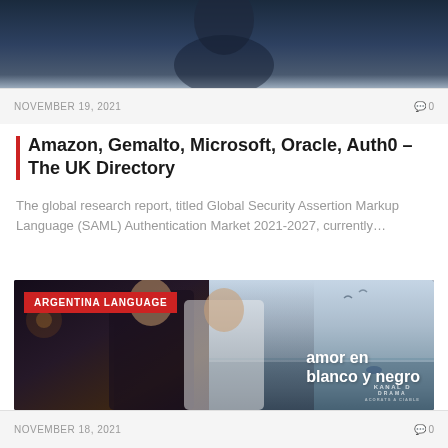[Figure (photo): Top portion of an article image showing dark blue tones, partially visible figure in a dark background]
NOVEMBER 19, 2021   0
Amazon, Gemalto, Microsoft, Oracle, Auth0 – The UK Directory
The global research report, titled Global Security Assertion Markup Language (SAML) Authentication Market 2021-2027, currently…
[Figure (photo): TV show promotional image with tag 'ARGENTINA LANGUAGE', showing two people (man in dark suit, woman in white) with text 'amor en blanco y negro' and KANAL D DRAMA branding on right side with sea backdrop]
NOVEMBER 18, 2021   0